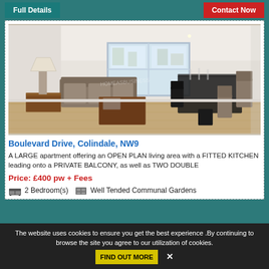Full Details | Contact Now
[Figure (photo): Interior photo of a modern apartment living/dining room with sofa, lamp, coffee table, dining table and chairs, and large windows with balcony view. Light wood floors, white walls.]
Boulevard Drive, Colindale, NW9
A LARGE apartment offering an OPEN PLAN living area with a FITTED KITCHEN leading onto a PRIVATE BALCONY, as well as TWO DOUBLE
Price: £400 pw + Fees
2 Bedroom(s)   Well Tended Communal Gardens
The website uses cookies to ensure you get the best experience .By continuing to browse the site you agree to our utilization of cookies.   FIND OUT MORE  ✕